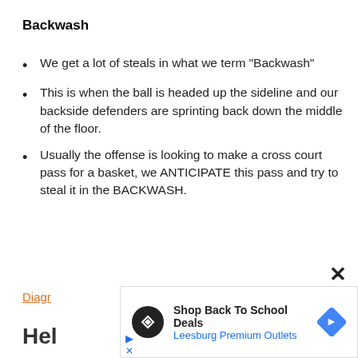Backwash
We get a lot of steals in what we term “Backwash”
This is when the ball is headed up the sideline and our backside defenders are sprinting back down the middle of the floor.
Usually the offense is looking to make a cross court pass for a basket, we ANTICIPATE this pass and try to steal it in the BACKWASH.
Diagr
Hel
[Figure (other): Advertisement banner: Shop Back To School Deals - Leesburg Premium Outlets, with logo icon and navigation diamond icon]